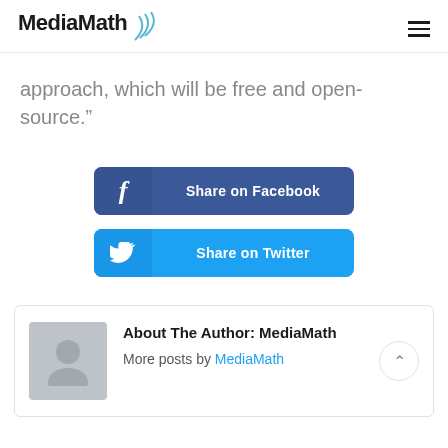MediaMath
approach, which will be free and open-source.”
[Figure (other): Share on Facebook button with Facebook icon on left side]
[Figure (other): Share on Twitter button with Twitter bird icon on left side]
About The Author: MediaMath
More posts by MediaMath